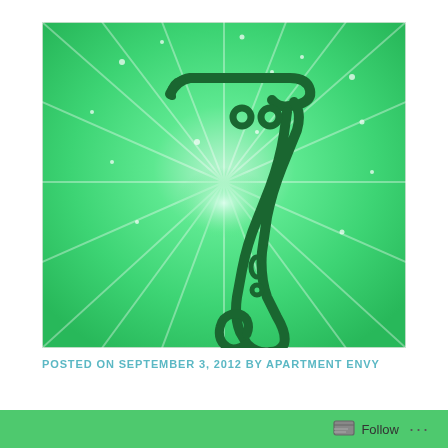[Figure (illustration): A stylized lucky number 7 slot machine symbol rendered in dark green outline on a bright green radial burst background with light sparkles. The 7 has an ornate, curling design with small circular details.]
POSTED ON SEPTEMBER 3, 2012 BY APARTMENT ENVY
[Figure (other): Green footer bar with Follow button and ellipsis menu icon]